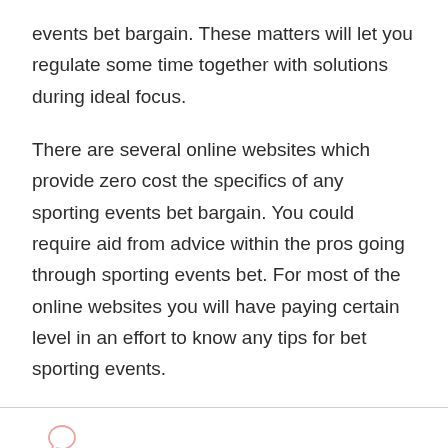events bet bargain. These matters will let you regulate some time together with solutions during ideal focus.
There are several online websites which provide zero cost the specifics of any sporting events bet bargain. You could require aid from advice within the pros going through sporting events bet. For most of the online websites you will have paying certain level in an effort to know any tips for bet sporting events.
Leave a Comment